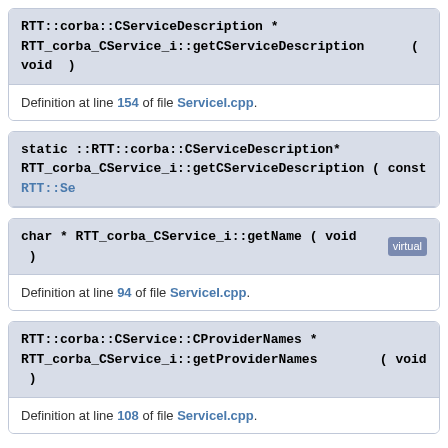RTT::corba::CServiceDescription * RTT_corba_CService_i::getCServiceDescription ( void )
Definition at line 154 of file ServiceI.cpp.
static ::RTT::corba::CServiceDescription* RTT_corba_CService_i::getCServiceDescription ( const RTT::Se
char * RTT_corba_CService_i::getName ( void ) virtual
Definition at line 94 of file ServiceI.cpp.
RTT::corba::CService::CProviderNames * RTT_corba_CService_i::getProviderNames ( void )
Definition at line 108 of file ServiceI.cpp.